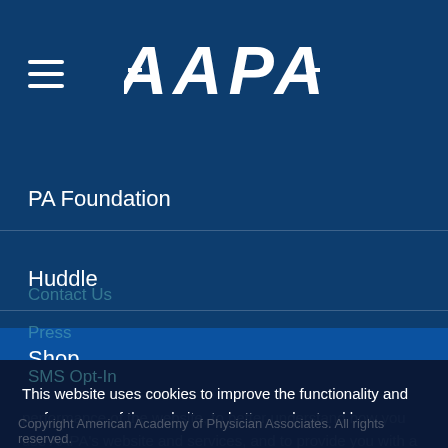[Figure (logo): AAPA logo in white text on dark blue header bar with hamburger menu icon on left]
PA Foundation
Huddle
Shop
Contact Us
Press
SMS Opt-In
This website uses cookies to improve the functionality and performance of the website, to better understand how you use AAPA's website and services, and to provide you with a customized experience. By continuing your use of this website, you consent to this use of cookies. See our Privacy Policy for more information.
GOT IT!
Copyright American Academy of Physician Associates. All rights reserved.